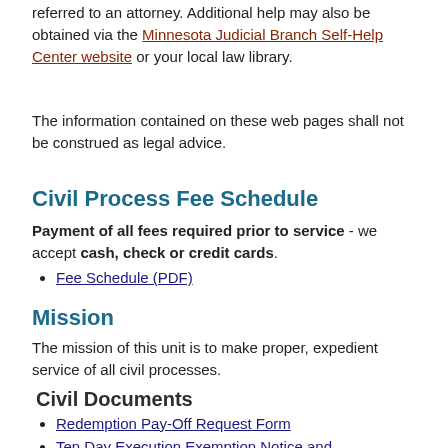referred to an attorney. Additional help may also be obtained via the Minnesota Judicial Branch Self-Help Center website or your local law library.
The information contained on these web pages shall not be construed as legal advice.
Civil Process Fee Schedule
Payment of all fees required prior to service - we accept cash, check or credit cards.
Fee Schedule (PDF)
Mission
The mission of this unit is to make proper, expedient service of all civil processes.
Civil Documents
Redemption Pay-Off Request Form
Ten Day Execution Exemption Notice and